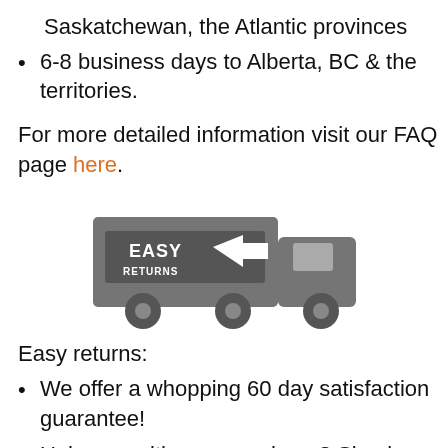Saskatchewan, the Atlantic provinces
6-8 business days to Alberta, BC & the territories.
For more detailed information visit our FAQ page here.
[Figure (illustration): A grey delivery truck icon with 'EASY RETURNS' text and a left-pointing arrow on the cargo container.]
Easy returns:
We offer a whopping 60 day satisfaction guarantee!
Unhappy with your purchase? Simply contact us for a returns authorization number and we'll get you a refund in a